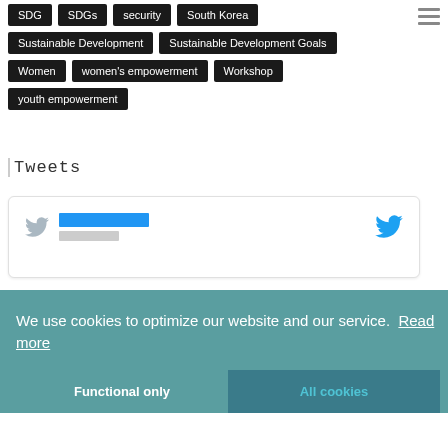SDG
SDGs
security
South Korea
Sustainable Development
Sustainable Development Goals
Women
women's empowerment
Workshop
youth empowerment
Tweets
[Figure (screenshot): Embedded tweet card with Twitter bird icon on left, blue name bar and grey handle bar placeholder, and Twitter bird icon on right]
We use cookies to optimize our website and our service. Read more
Functional only
All cookies